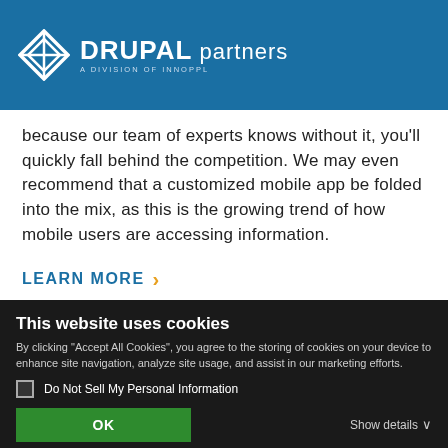[Figure (logo): Drupal Partners logo — diamond shape icon on left, 'DRUPAL partners' text with 'A DIVISION OF INNOPPL' subtitle on blue background]
because our team of experts knows without it, you'll quickly fall behind the competition. We may even recommend that a customized mobile app be folded into the mix, as this is the growing trend of how mobile users are accessing information.
LEARN MORE ›
This website uses cookies
By clicking "Accept All Cookies", you agree to the storing of cookies on your device to enhance site navigation, analyze site usage, and assist in our marketing efforts.
Do Not Sell My Personal Information
OK
Show details ›